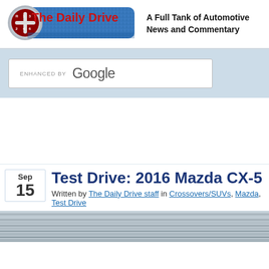[Figure (logo): The Daily Drive logo with gear shift icon and red text on blue banner background]
A Full Tank of Automotive News and Commentary
[Figure (screenshot): Enhanced by Google search box]
Test Drive: 2016 Mazda CX-5 Gra
Written by The Daily Drive staff in Crossovers/SUVs, Mazda, Test Drive
[Figure (photo): Partial photo of a car, gray/silver, visible at bottom of page]